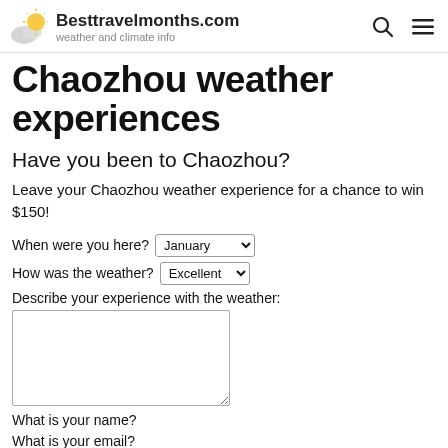Besttravelmonths.com — weather and climate info
Chaozhou weather experiences
Have you been to Chaozhou?
Leave your Chaozhou weather experience for a chance to win $150!
When were you here? [January dropdown] How was the weather? [Excellent dropdown] Describe your experience with the weather: [textarea] What is your name? What is your email?